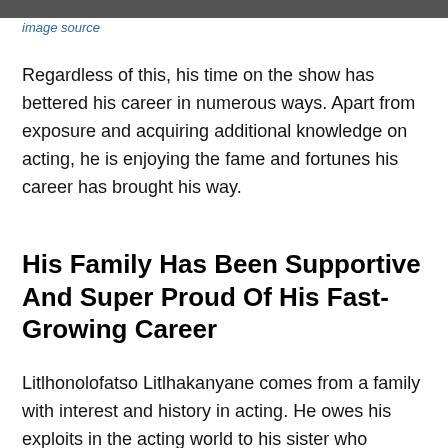[Figure (photo): Cropped top of an image, partially visible at the top of the page]
image source
Regardless of this, his time on the show has bettered his career in numerous ways. Apart from exposure and acquiring additional knowledge on acting, he is enjoying the fame and fortunes his career has brought his way.
His Family Has Been Supportive And Super Proud Of His Fast-Growing Career
Litlhonolofatso Litlhakanyane comes from a family with interest and history in acting. He owes his exploits in the acting world to his sister who became